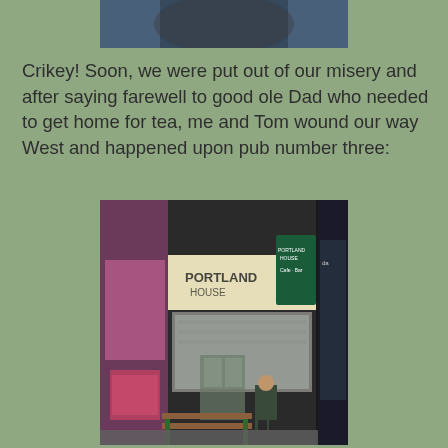[Figure (photo): Partial photo cropped at top of page, showing a person from the torso/shoulder area against a dark background]
Crikey!  Soon, we were put out of our misery and after saying farewell to good ole Dad who needed to get home for tea, me and Tom wound our way West and happened upon pub number three:
[Figure (photo): Street photograph of Portland House Cafe-Bar pub frontage at night, with a person standing outside next to wooden bench seating on the pavement. The illuminated shop sign reads 'Portland House Cafe Bar'. Adjacent shops visible on left and right.]